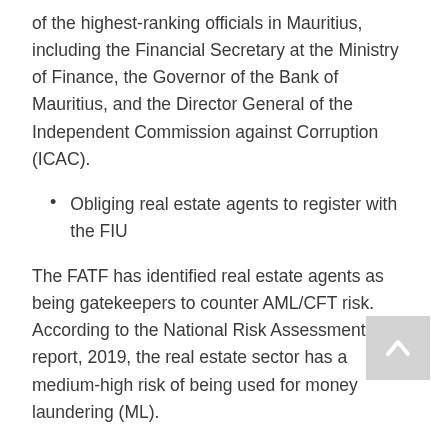of the highest-ranking officials in Mauritius, including the Financial Secretary at the Ministry of Finance, the Governor of the Bank of Mauritius, and the Director General of the Independent Commission against Corruption (ICAC).
Obliging real estate agents to register with the FIU
The FATF has identified real estate agents as being gatekeepers to counter AML/CFT risk. According to the National Risk Assessment report, 2019, the real estate sector has a medium-high risk of being used for money laundering (ML).
The FA has amended the Real Estate Agent Authority Act, itself enacted in 2020 as part of the efforts to meet FATF